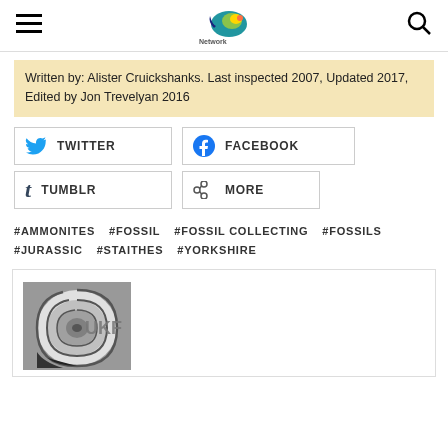UK Fossils Network header with hamburger menu, logo, and search icon
Written by: Alister Cruickshanks. Last inspected 2007, Updated 2017, Edited by Jon Trevelyan 2016
[Figure (infographic): Social sharing buttons: Twitter, Facebook, Tumblr, More]
#AMMONITES #FOSSIL #FOSSIL COLLECTING #FOSSILS #JURASSIC #STAITHES #YORKSHIRE
[Figure (logo): UKF (UK Fossils) logo with spiral ammonite graphic on dark background]